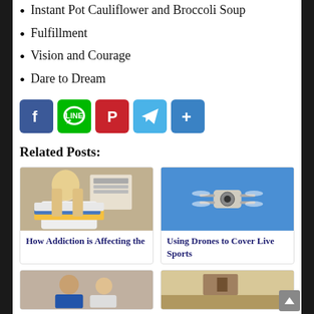Instant Pot Cauliflower and Broccoli Soup
Fulfillment
Vision and Courage
Dare to Dream
[Figure (infographic): Social share buttons: Facebook (blue), LINE (green), Pinterest (red), Telegram (light blue), Share/More (blue)]
Related Posts:
[Figure (photo): Stressed woman with blonde hair holding her head over stacks of papers and folders]
How Addiction is Affecting the
[Figure (photo): Drone quadcopter viewed from below against blue sky]
Using Drones to Cover Live Sports
[Figure (photo): Two people facing each other, partial view]
[Figure (photo): Room interior, partial view]